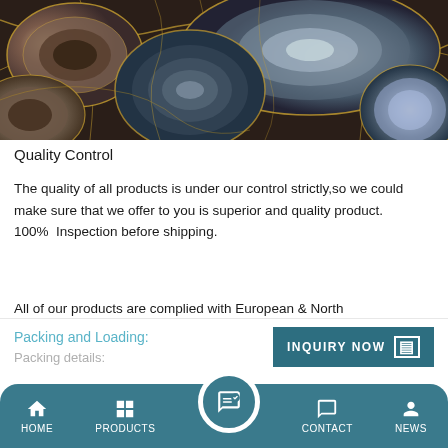[Figure (photo): Close-up photo of polished agate gemstone slices in brown, grey, blue and cream tones with golden veining patterns]
Quality Control
The quality of all products is under our control strictly,so we could make sure that we offer to you is superior and quality product.
100%  Inspection before shipping.
All of our products are complied with European & North America Standard.
Those obvious or invisible problems could not be found
Packing and Loading:
Packing details:
HOME   PRODUCTS   CONTACT   NEWS